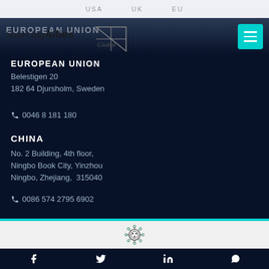USA   UK   EU
EUROPEAN UNION
SourcingAllies Global
Belestigen 20
182 64 Djursholm, Sweden
0046 8 181 180
CHINA
No. 2 Building, 4th floor,
Ningbo Book City, Yinzhou
Ningbo, Zhejiang,  315040
0086 574 2795 6902
[Figure (logo): Small virus/coronavirus icon in the white footer area]
Facebook  Twitter  LinkedIn  WhatsApp social media icons